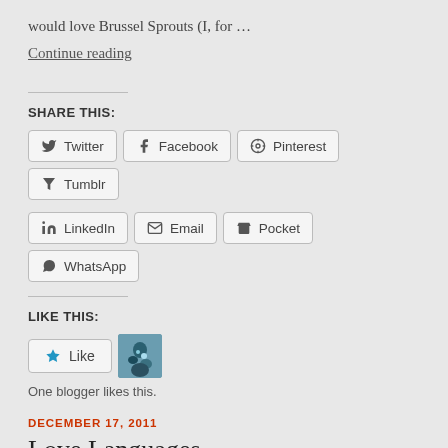would love Brussel Sprouts (I, for …
Continue reading
Share this:
Twitter  Facebook  Pinterest  Tumblr  LinkedIn  Email  Pocket  WhatsApp
Like this:
Like
One blogger likes this.
DECEMBER 17, 2011
Love Languages...
I've pushed off this blog post for many a day, but I think that doing it will, or may, actually help me sort